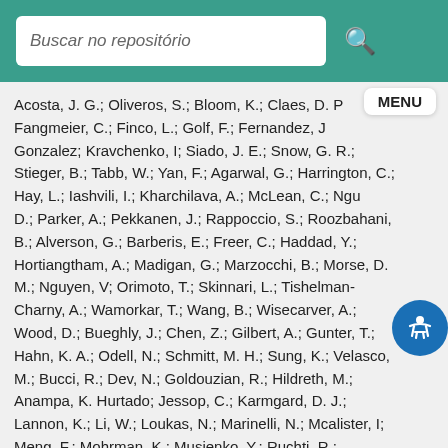Buscar no repositório
Acosta, J. G.; Oliveros, S.; Bloom, K.; Claes, D. P Fangmeier, C.; Finco, L.; Golf, F.; Fernandez, J Gonzalez; Kravchenko, I; Siado, J. E.; Snow, G. R.; Stieger, B.; Tabb, W.; Yan, F.; Agarwal, G.; Harrington, C.; Hay, L.; Iashvili, I.; Kharchilava, A.; McLean, C.; Ngu D.; Parker, A.; Pekkanen, J.; Rappoccio, S.; Roozbahani, B.; Alverson, G.; Barberis, E.; Freer, C.; Haddad, Y.; Hortiangtham, A.; Madigan, G.; Marzocchi, B.; Morse, D. M.; Nguyen, V; Orimoto, T.; Skinnari, L.; Tishelman-Charny, A.; Wamorkar, T.; Wang, B.; Wisecarver, A.; Wood, D.; Bueghly, J.; Chen, Z.; Gilbert, A.; Gunter, T.; Hahn, K. A.; Odell, N.; Schmitt, M. H.; Sung, K.; Velasco, M.; Bucci, R.; Dev, N.; Goldouzian, R.; Hildreth, M.; Anampa, K. Hurtado; Jessop, C.; Karmgard, D. J.; Lannon, K.; Li, W.; Loukas, N.; Marinelli, N.; Mcalister, I; Meng, F.; Mohrman, K.; Musienko, Y.; Ruchti, R.; Siddireddy, P.; Taroni, S.; Wayne, M.; Wightman, A.; Wolf, M.; Zygala, L.; Alimena, J.; Bylsma, B.; Cardwell, B.; Durkin, L. S.; Francis, B.; Hill, C.; Lefeld, A.; Winer, B.